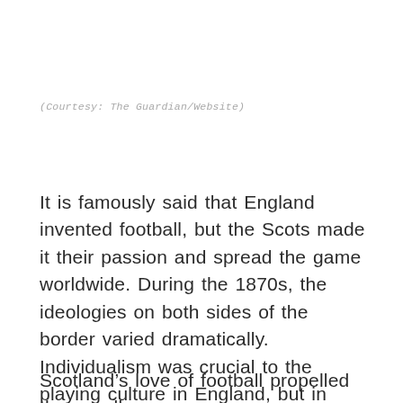(Courtesy: The Guardian/Website)
It is famously said that England invented football, but the Scots made it their passion and spread the game worldwide. During the 1870s, the ideologies on both sides of the border varied dramatically. Individualism was crucial to the playing culture in England, but in Scotland, the game combined individual dribbling with short passing moves.
Scotland’s love of football propelled them well